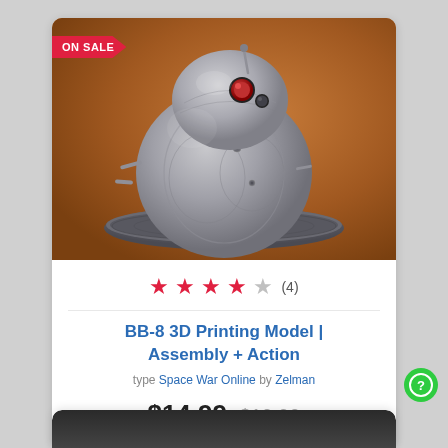[Figure (photo): BB-8 Star Wars droid 3D printed model on a circular base, silver/gray color, on a warm brown background. 'ON SALE' badge in top-left corner.]
★ ★ ★ ★ ☆ (4)
BB-8 3D Printing Model | Assembly + Action
type Space War Online by Zelman
$14.99 $19.99